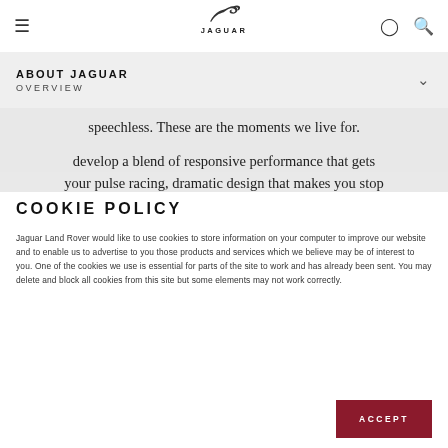JAGUAR — Navigation bar with logo, hamburger menu, location and search icons
ABOUT JAGUAR
OVERVIEW
speechless. These are the moments we live for.
That's why our designers and engineers at Jaguar develop a blend of responsive performance that gets your pulse racing, dramatic design that makes you stop
COOKIE POLICY
Jaguar Land Rover would like to use cookies to store information on your computer to improve our website and to enable us to advertise to you those products and services which we believe may be of interest to you. One of the cookies we use is essential for parts of the site to work and has already been sent. You may delete and block all cookies from this site but some elements may not work correctly.
ACCEPT